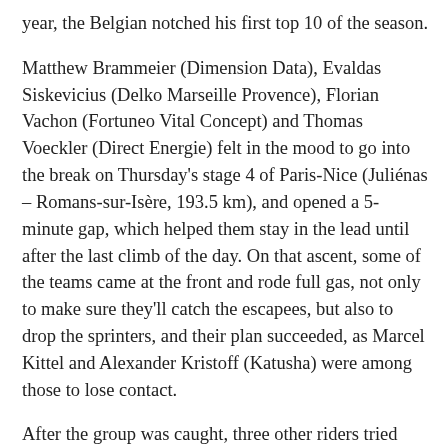year, the Belgian notched his first top 10 of the season.
Matthew Brammeier (Dimension Data), Evaldas Siskevicius (Delko Marseille Provence), Florian Vachon (Fortuneo Vital Concept) and Thomas Voeckler (Direct Energie) felt in the mood to go into the break on Thursday's stage 4 of Paris-Nice (Juliénas – Romans-sur-Isère, 193.5 km), and opened a 5-minute gap, which helped them stay in the lead until after the last climb of the day. On that ascent, some of the teams came at the front and rode full gas, not only to make sure they'll catch the escapees, but also to drop the sprinters, and their plan succeeded, as Marcel Kittel and Alexander Kristoff (Katusha) were among those to lose contact.
After the group was caught, three other riders tried their hand, but they too were reabsorbed. In the last 300 meters, Edward Theuns (Trek-Segafredo) was the first to open the sprint, but Nacer Bouhanni (Cofidis) proved stronger and took the win, ahead of the Belgian and